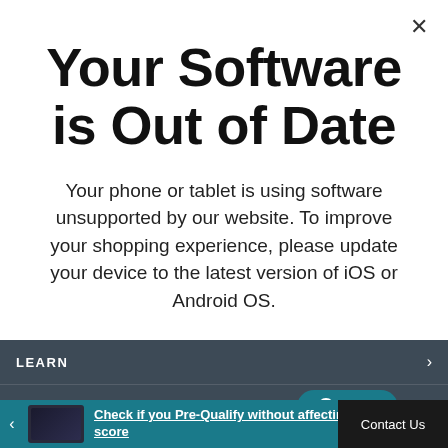Your Software is Out of Date
Your phone or tablet is using software unsupported by our website. To improve your shopping experience, please update your device to the latest version of iOS or Android OS.
LEARN
OUR COMPANY
Chat
Check if you Pre-Qualify without affecting your credit score
Contact Us